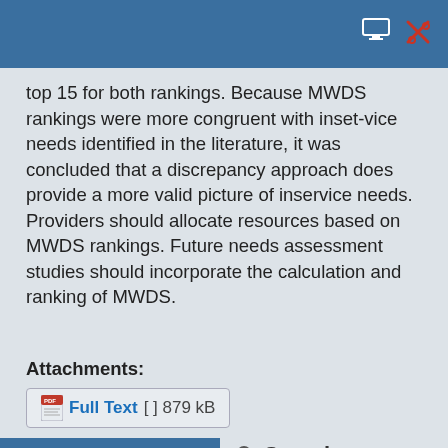top 15 for both rankings. Because MWDS rankings were more congruent with inset-vice needs identified in the literature, it was concluded that a discrepancy approach does provide a more valid picture of inservice needs. Providers should allocate resources based on MWDS rankings. Future needs assessment studies should incorporate the calculation and ranking of MWDS.
Attachments:
Full Text [ ] 879 kB
Main Menu
Copyright
Philosophy
Review Process
Search
Search ...
Login
Go to top
Username